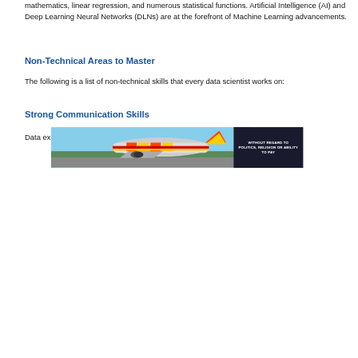mathematics, linear regression, and numerous statistical functions. Artificial Intelligence (AI) and Deep Learning Neural Networks (DLNs) are at the forefront of Machine Learning advancements.
Non-Technical Areas to Master
The following is a list of non-technical skills that every data scientist works on:
Strong Communication Skills
Data experts must be able to communicate
[Figure (photo): Advertisement banner showing an airplane being loaded with cargo, with text overlay reading 'WITHOUT REGARD TO POLITICS, RELIGION OR ABILITY TO PAY']